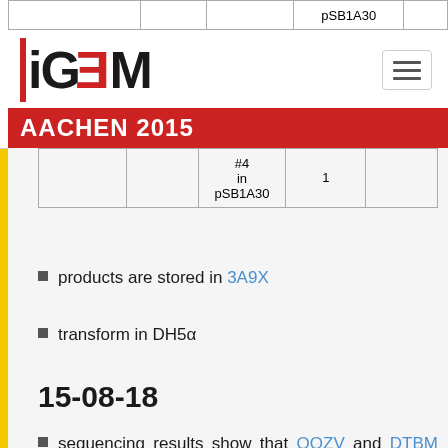iGEM AACHEN 2015
|  |  | 1 | #4 in pSB1A30 |  |
products are stored in 3A9X
transform in DH5α
15-08-18
sequencing results show that QOZV and DTBM are both missing glgC
all transformations were thrown away